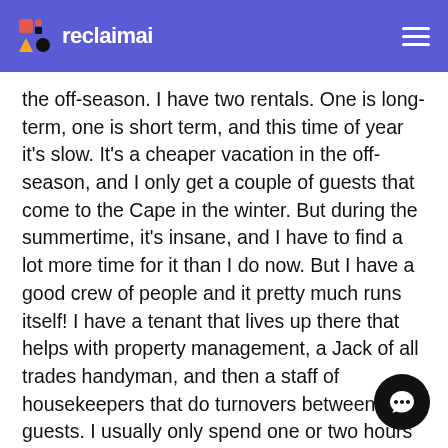reclaimai
the off-season. I have two rentals. One is long-term, one is short term, and this time of year it's slow. It's a cheaper vacation in the off-season, and I only get a couple of guests that come to the Cape in the winter. But during the summertime, it's insane, and I have to find a lot more time for it than I do now. But I have a good crew of people and it pretty much runs itself! I have a tenant that lives up there that helps with property management, a Jack of all trades handyman, and then a staff of housekeepers that do turnovers between guests. I usually only spend one or two hours a week checking up to make sure everything is running okay. I've outsourced the marketing to my marketing people, which usually requires one post a week, and we've automated the